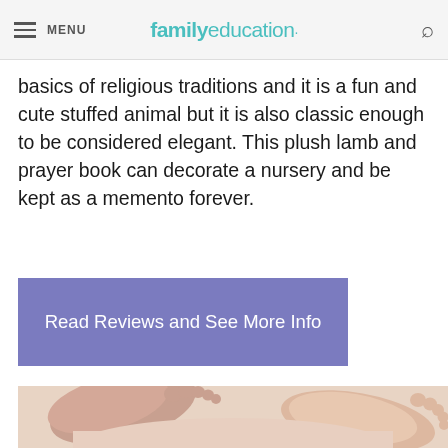MENU | familyeducation
basics of religious traditions and it is a fun and cute stuffed animal but it is also classic enough to be considered elegant. This plush lamb and prayer book can decorate a nursery and be kept as a memento forever.
Read Reviews and See More Info
[Figure (photo): Close-up photo of baby feet on a white background, showing two small infant feet from below]